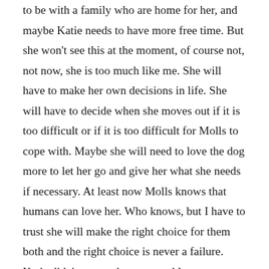to be with a family who are home for her, and maybe Katie needs to have more free time. But she won't see this at the moment, of course not, not now, she is too much like me. She will have to make her own decisions in life. She will have to decide when she moves out if it is too difficult or if it is too difficult for Molls to cope with. Maybe she will need to love the dog more to let her go and give her what she needs if necessary. At least now Molls knows that humans can love her. Who knows, but I have to trust she will make the right choice for them both and the right choice is never a failure. Katie didn't say on that memorable return journey that I shouldn't have saved my stray. Having met the dogs and other people involved in the rescue, along with living the emotion of the experience, she felt it was totally right what I had done, she was so proud of us. And I